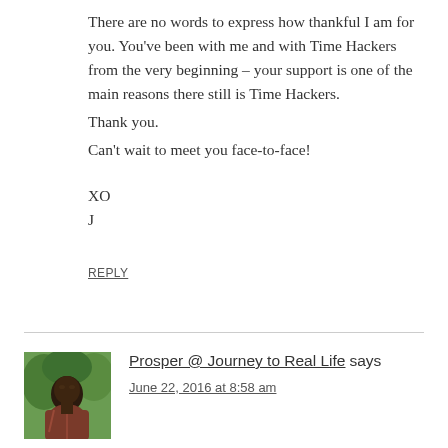There are no words to express how thankful I am for you. You've been with me and with Time Hackers from the very beginning – your support is one of the main reasons there still is Time Hackers.
Thank you.
Can't wait to meet you face-to-face!
XO
J
REPLY
Prosper @ Journey to Real Life says
June 22, 2016 at 8:58 am